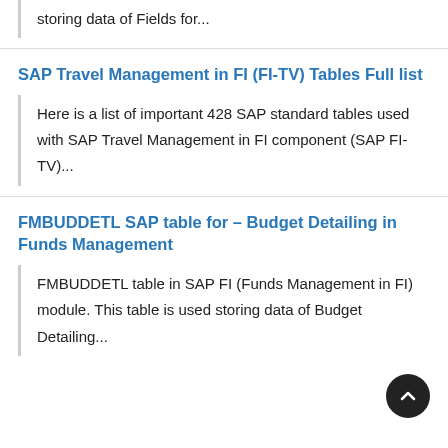storing data of Fields for...
SAP Travel Management in FI (FI-TV) Tables Full list
Here is a list of important 428 SAP standard tables used with SAP Travel Management in FI component (SAP FI-TV)...
FMBUDDETL SAP table for – Budget Detailing in Funds Management
FMBUDDETL table in SAP FI (Funds Management in FI) module. This table is used storing data of Budget Detailing...